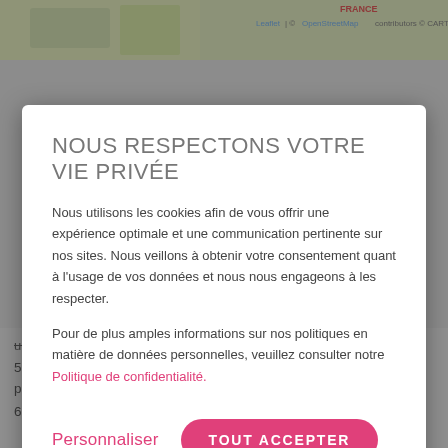[Figure (screenshot): Map background with Leaflet attribution bar showing 'FRANCE', 'Leaflet | © OpenStreetMap contributors © CARTO']
NOUS RESPECTONS VOTRE VIE PRIVÉE
Nous utilisons les cookies afin de vous offrir une expérience optimale et une communication pertinente sur nos sites. Nous veillons à obtenir votre consentement quant à l'usage de vos données et nous nous engageons à les respecter.
Pour de plus amples informations sur nos politiques en matière de données personnelles, veuillez consulter notre Politique de confidentialité.
Personnaliser
TOUT ACCEPTER
uploaded documents.
5. After validation, you will be asked to follow the vehicle inspect process using the app.
6. Final stage is for the inspection to be validated and for